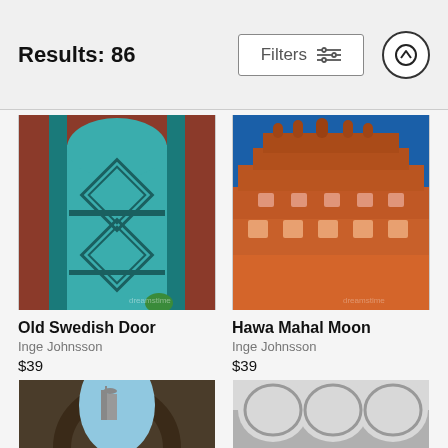Results: 86
[Figure (photo): Old Swedish door — decorative teal/turquoise wooden door with geometric diamond patterns set in red brick surround]
Old Swedish Door
Inge Johnsson
$39
[Figure (photo): Hawa Mahal Moon — orange/pink Hawa Mahal palace facade in Jaipur against deep blue sky]
Hawa Mahal Moon
Inge Johnsson
$39
[Figure (photo): Partial view of stone archway with view through to a building — bottom row, left card, cropped]
[Figure (photo): Black and white architectural arches — bottom row, right card, cropped]